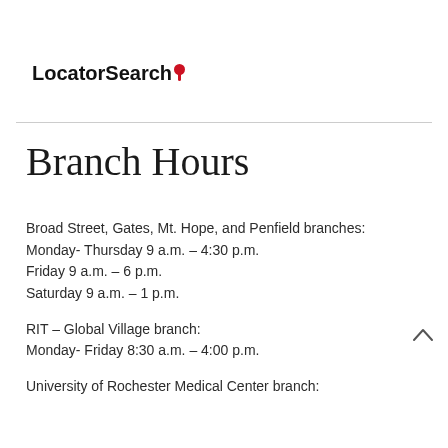LocatorSearch
Branch Hours
Broad Street, Gates, Mt. Hope, and Penfield branches:
Monday- Thursday 9 a.m. – 4:30 p.m.
Friday 9 a.m. – 6 p.m.
Saturday 9 a.m. – 1 p.m.
RIT – Global Village branch:
Monday- Friday 8:30 a.m. – 4:00 p.m.
University of Rochester Medical Center branch: